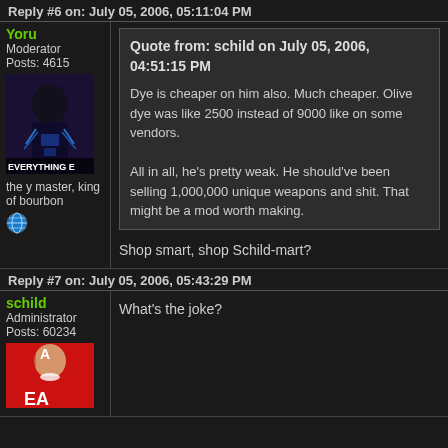Reply #6 on: July 05, 2006, 05:11:04 PM
Yoru
Moderator
Posts: 4615
[Figure (photo): Avatar of Yoru - person in dark outfit with blue lights, text EVERYTHING E at bottom]
the y master, king of bourbon
[Figure (illustration): Globe/earth emoji icon]
Quote from: schild on July 05, 2006, 04:51:15 PM

Dye is cheaper on him also. Much cheaper. Olive dye was like 2500 instead of 9000 like on some vendors.

All in all, he's pretty weak. He should've been selling 1,000,000 unique weapons and shit. That might be a mod worth making.
Shop smart, shop Schild-mart?
Reply #7 on: July 05, 2006, 05:43:29 PM
schild
Administrator
Posts: 60234
[Figure (photo): Avatar of schild - person in red jersey with EA text visible]
What's the joke?